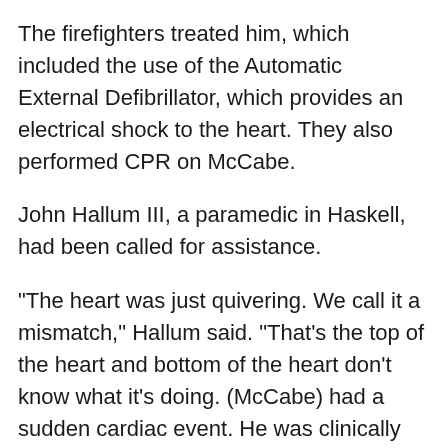The firefighters treated him, which included the use of the Automatic External Defibrillator, which provides an electrical shock to the heart. They also performed CPR on McCabe.
John Hallum III, a paramedic in Haskell, had been called for assistance.
"The heart was just quivering. We call it a mismatch," Hallum said. "That's the top of the heart and bottom of the heart don't know what it's doing. (McCabe) had a sudden cardiac event. He was clinically dead. Less than 1 percent of patients survive that. But his friends and fellow firemen got him back alive, and he's one of the 1 percent."
Hallum said he's known the 59-year-old McCabe for 27 years, even when he owned a wrecker service in Haskell before joining the fire department.